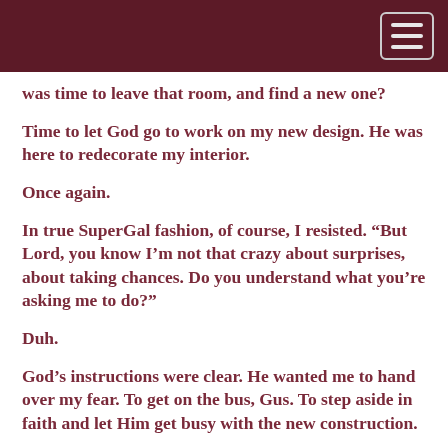was time to leave that room, and find a new one?
Time to let God go to work on my new design. He was here to redecorate my interior.
Once again.
In true SuperGal fashion, of course, I resisted. “But Lord, you know I’m not that crazy about surprises, about taking chances. Do you understand what you’re asking me to do?”
Duh.
God’s instructions were clear. He wanted me to hand over my fear. To get on the bus, Gus. To step aside in faith and let Him get busy with the new construction.
All by Himself. No SuperGal project management necessary. I would only see the finished project after the Big Reveal.